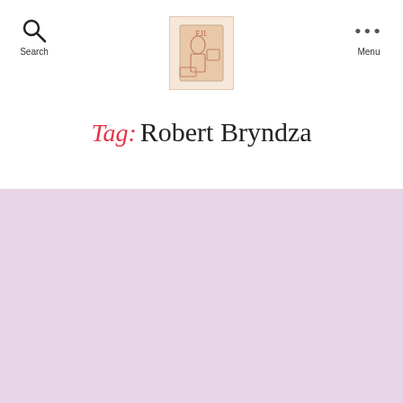Search | [Logo] | Menu
Tag: Robert Bryndza
EMMA'S ANTICIPATED TREASURES
Emma's Anticipated Treasures: December 2021
By emmasbibliotreasures   18th Nov 2021
1 Comment